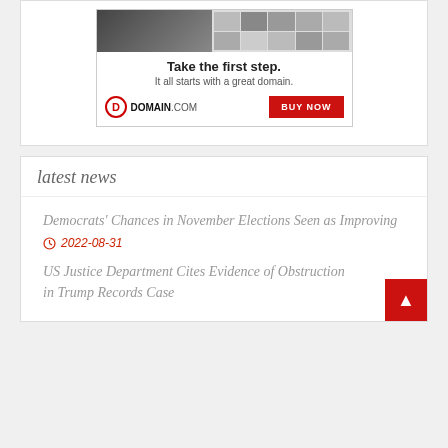[Figure (advertisement): Domain.com advertisement banner with headline 'Take the first step. It all starts with a great domain.' with Domain.com logo and red BUY NOW button]
latest news
Democrats' Chances in November Elections Seen as Improving
2022-08-31
US Justice Department Cites Evidence of Obstruction in Trump Records Case